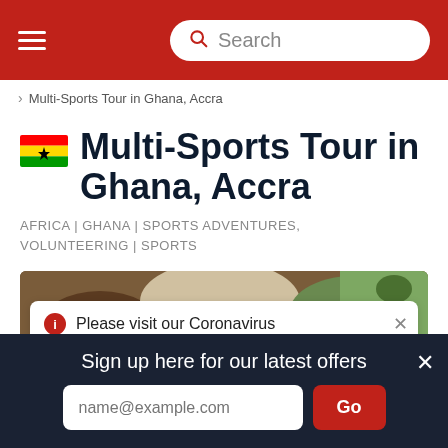Multi-Sports Tour in Ghana, Accra
Multi-Sports Tour in Ghana, Accra
Multi-Sports Tour in Ghana, Accra
AFRICA | GHANA | SPORTS ADVENTURES, VOLUNTEERING | SPORTS
[Figure (photo): Outdoor scene with people and tropical plants]
Please visit our Coronavirus
Sign up here for our latest offers